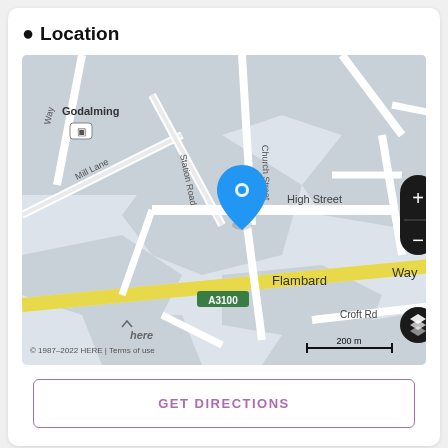Location
[Figure (map): Street map of Godalming area showing Church Street, High Street, Station Road, Mill Lane, Flambard Way, Croft Road, and A3100. A blue location pin is placed on Church Street near High Street. Map includes zoom controls (+/-), a layer button, HERE branding, copyright notice '© 1987–2022 HERE | Terms of use', and a 200 m scale bar.]
GET DIRECTIONS